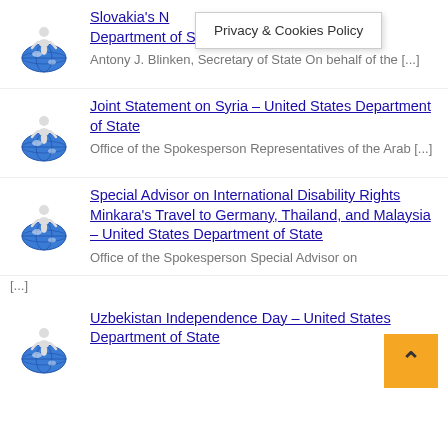Slovakia's N... – United States Department of State
Antony J. Blinken, Secretary of State On behalf of the [...]
Joint Statement on Syria – United States Department of State
Office of the Spokesperson Representatives of the Arab [...]
Special Advisor on International Disability Rights Minkara's Travel to Germany, Thailand, and Malaysia – United States Department of State
Office of the Spokesperson Special Advisor on [...]
Uzbekistan Independence Day – United States Department of State